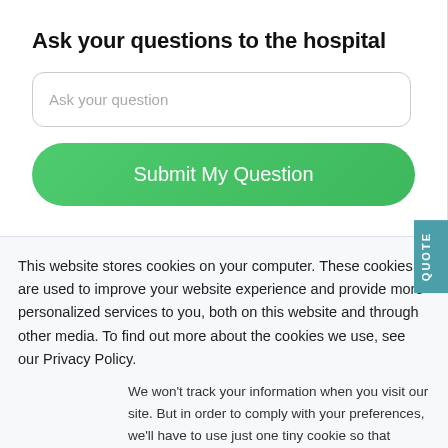Ask your questions to the hospital
Ask your question
Submit My Question
QUOTE
This website stores cookies on your computer. These cookies are used to improve your website experience and provide more personalized services to you, both on this website and through other media. To find out more about the cookies we use, see our Privacy Policy.
We won't track your information when you visit our site. But in order to comply with your preferences, we'll have to use just one tiny cookie so that you're not asked to make this choice again.
Accept
Decline